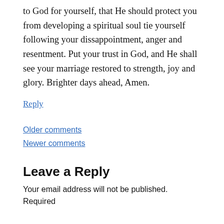to God for yourself, that He should protect you from developing a spiritual soul tie yourself following your dissappointment, anger and resentment. Put your trust in God, and He shall see your marriage restored to strength, joy and glory. Brighter days ahead, Amen.
Reply
Older comments
Newer comments
Leave a Reply
Your email address will not be published. Required